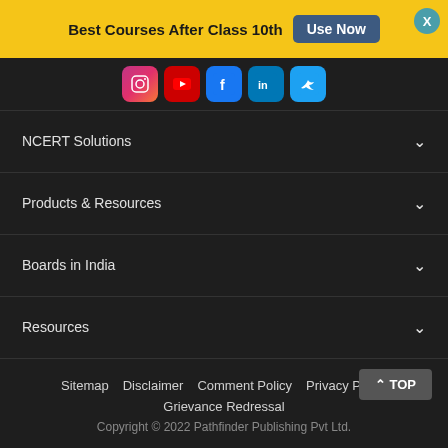Best Courses After Class 10th  Use Now
[Figure (other): Social media icons: Instagram, YouTube, Facebook, LinkedIn, Twitter]
NCERT Solutions
Products & Resources
Boards in India
Resources
Sitemap   Disclaimer   Comment Policy   Privacy Policy
Grievance Redressal
Copyright © 2022 Pathfinder Publishing Pvt Ltd.